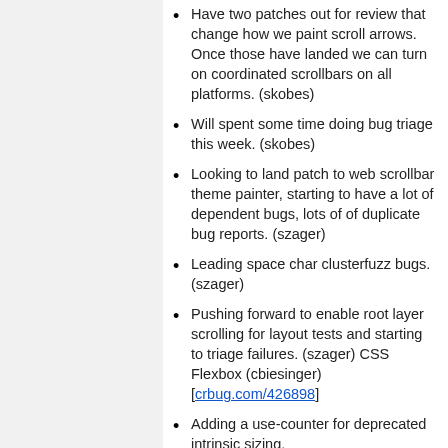Have two patches out for review that change how we paint scroll arrows. Once those have landed we can turn on coordinated scrollbars on all platforms. (skobes)
Will spent some time doing bug triage this week. (skobes)
Looking to land patch to web scrollbar theme painter, starting to have a lot of dependent bugs, lots of of duplicate bug reports. (szager)
Leading space char clusterfuzz bugs. (szager)
Pushing forward to enable root layer scrolling for layout tests and starting to triage failures. (szager) CSS Flexbox (cbiesinger) [crbug.com/426898]
Adding a use-counter for deprecated intrinsic sizing.
Fixing up css working group test suite for flebox, hope patches will